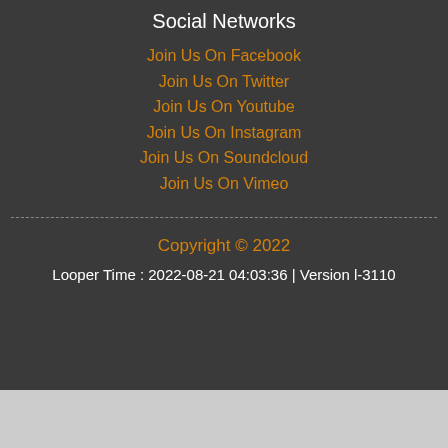Social Networks
Join Us On Facebook
Join Us On Twitter
Join Us On Youtube
Join Us On Instagram
Join Us On Soundcloud
Join Us On Vimeo
Copyright © 2022
Looper Time : 2022-08-21 04:03:36 | Version l-3110